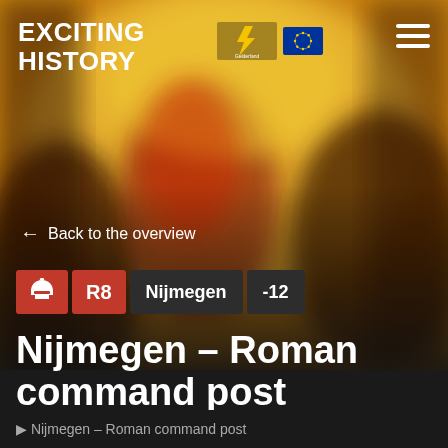[Figure (photo): Blurred background image of Roman soldiers or historical figures with warm yellow/orange tones, used as hero background]
EXCITING HISTORY
← Back to the overview
R8  Nijmegen  -12
Nijmegen – Roman command post
Nijmegen – Roman command post